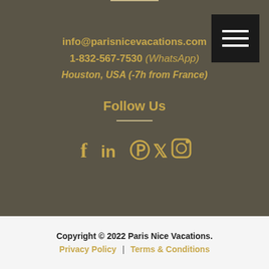info@parisnicevacations.com
1-832-567-7530 (WhatsApp)
Houston, USA (-7h from France)
Follow Us
[Figure (infographic): Social media icons: Facebook, LinkedIn, Pinterest, Twitter, Instagram]
Copyright © 2022 Paris Nice Vacations. Privacy Policy | Terms & Conditions